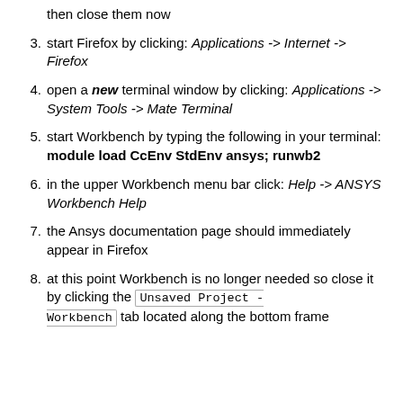then close them now
3. start Firefox by clicking: Applications -> Internet -> Firefox
4. open a new terminal window by clicking: Applications -> System Tools -> Mate Terminal
5. start Workbench by typing the following in your terminal: module load CcEnv StdEnv ansys; runwb2
6. in the upper Workbench menu bar click: Help -> ANSYS Workbench Help
7. the Ansys documentation page should immediately appear in Firefox
8. at this point Workbench is no longer needed so close it by clicking the Unsaved Project - Workbench tab located along the bottom frame